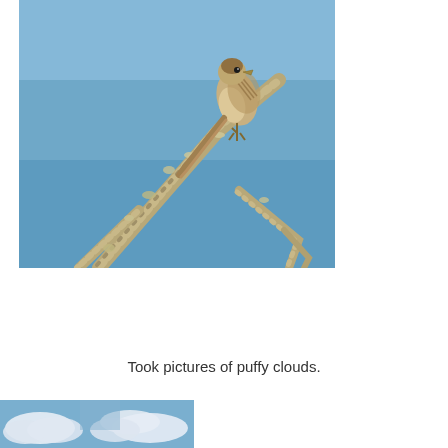[Figure (photo): A small brown bird perched on bare lichen-covered branches against a clear blue sky background.]
Took pictures of puffy clouds.
[Figure (photo): A sky scene with puffy white clouds and blue sky, partially visible at the bottom of the page.]